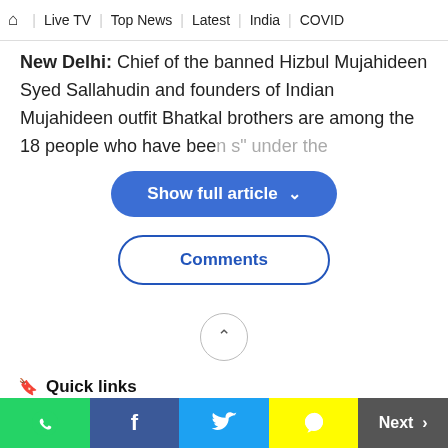🏠 | Live TV | Top News | Latest | India | COVID
New Delhi: Chief of the banned Hizbul Mujahideen Syed Sallahudin and founders of Indian Mujahideen outfit Bhatkal brothers are among the 18 people who have bee... s" under the
[Figure (other): Blue pill-shaped 'Show full article' button with chevron/down arrow]
[Figure (other): White pill-shaped 'Comments' button with blue border and blue text]
[Figure (other): Circular scroll-up button with upward chevron]
Quick links
WhatsApp | Facebook | Twitter | Snapchat | Next >